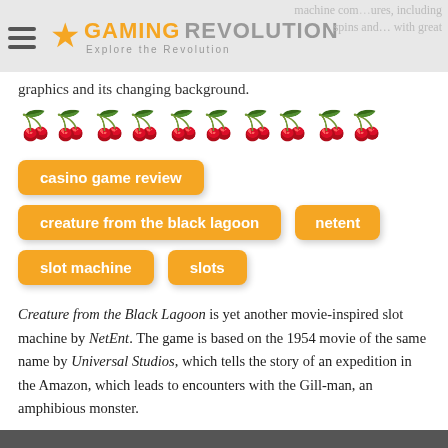GAMING REVOLUTION — Explore the Revolution
graphics and its changing background.
[Figure (other): Cherry rating icons: 4 filled purple cherries and 1 empty/grey cherry pair, indicating a rating of 4 out of 5]
casino game review
creature from the black lagoon
netent
slot machine
slots
Creature from the Black Lagoon is yet another movie-inspired slot machine by NetEnt. The game is based on the 1954 movie of the same name by Universal Studios, which tells the story of an expedition in the Amazon, which leads to encounters with the Gill-man, an amphibious monster.